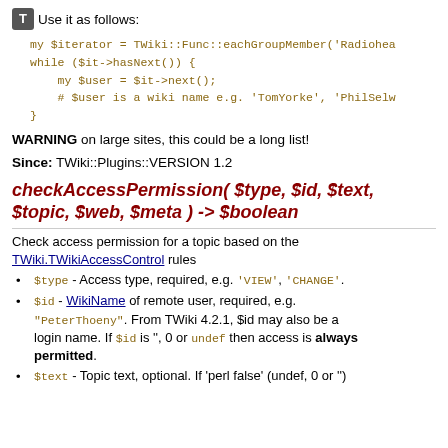Use it as follows:
WARNING on large sites, this could be a long list!
Since: TWiki::Plugins::VERSION 1.2
checkAccessPermission( $type, $id, $text, $topic, $web, $meta ) -> $boolean
Check access permission for a topic based on the TWiki.TWikiAccessControl rules
$type - Access type, required, e.g. 'VIEW', 'CHANGE'.
$id - WikiName of remote user, required, e.g. "PeterThoeny". From TWiki 4.2.1, $id may also be a login name. If $id is '', 0 or undef then access is always permitted.
$text - Topic text, optional. If 'perl false' (undef, 0 or '')